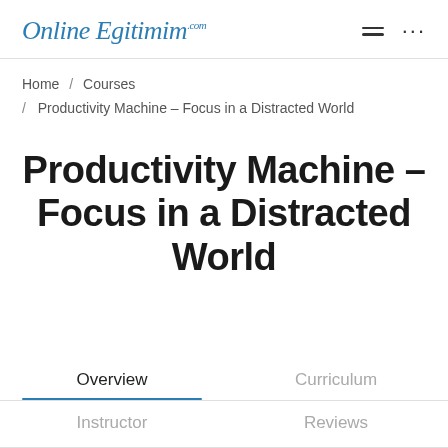Online Egitimim.com
Home / Courses / Productivity Machine – Focus in a Distracted World
Productivity Machine – Focus in a Distracted World
Overview | Curriculum | Instructor | Reviews